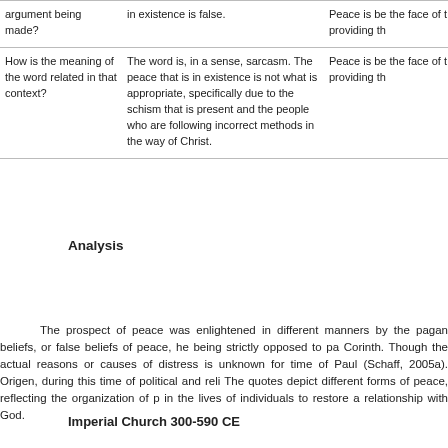|  |  |  |
| --- | --- | --- |
| argument being made? | in existence is false. | Peace is be the face of t providing th |
| How is the meaning of the word related in that context? | The word is, in a sense, sarcasm. The peace that is in existence is not what is appropriate, specifically due to the schism that is present and the people who are following incorrect methods in the way of Christ. | Peace is be the face of t providing th |
Analysis
The prospect of peace was enlightened in different manners by the pagan beliefs, or false beliefs of peace, he being strictly opposed to pa Corinth. Though the actual reasons or causes of distress is unknown for time of Paul (Schaff, 2005a). Origen, during this time of political and reli The quotes depict different forms of peace, reflecting the organization of p in the lives of individuals to restore a relationship with God.
Imperial Church 300-590 CE